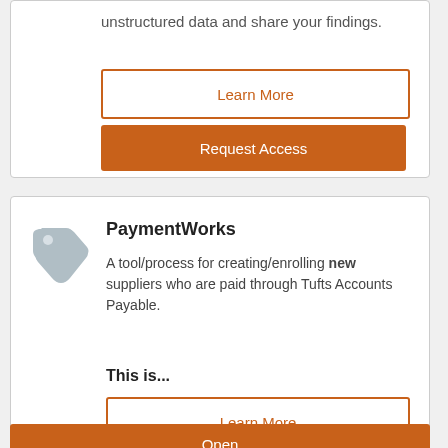unstructured data and share your findings.
Learn More
Request Access
PaymentWorks
A tool/process for creating/enrolling new suppliers who are paid through Tufts Accounts Payable.
This is...
Learn More
Open